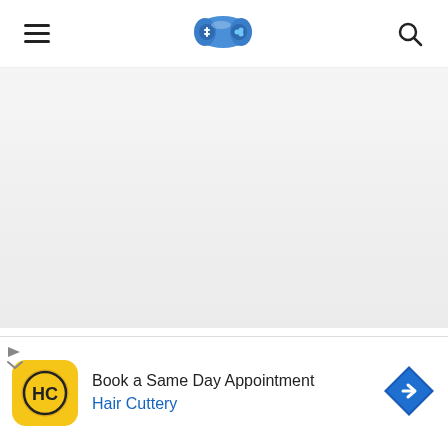HOW TO DOWNLOAD AND SUBSCRIBE TO TELEGRAM TO WATCH STREAMING MOVIES AND
[Figure (logo): Gaming controller logo icon in blue, center of nav bar]
HOW TO DOWNLOAD AND SUBSCRIBE TO TELEGRAM TO WATCH STREAMING MOVIES AND
[Figure (infographic): Advertisement banner: Book a Same Day Appointment - Hair Cuttery, with yellow HC logo and blue diamond arrow icon]